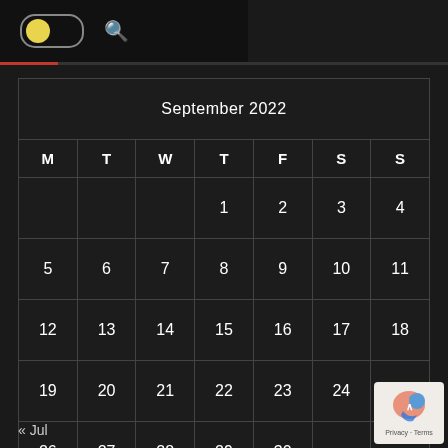[Figure (screenshot): Dark mode UI top bar with yellow toggle switch on left and search icon]
| M | T | W | T | F | S | S |
| --- | --- | --- | --- | --- | --- | --- |
|  |  |  | 1 | 2 | 3 | 4 |
| 5 | 6 | 7 | 8 | 9 | 10 | 11 |
| 12 | 13 | 14 | 15 | 16 | 17 | 18 |
| 19 | 20 | 21 | 22 | 23 | 24 | 25 |
| 26 | 27 | 28 | 29 | 30 |  |  |
« Jul